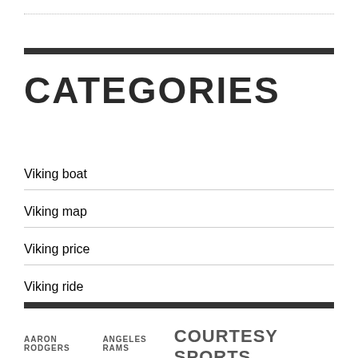CATEGORIES
Viking boat
Viking map
Viking price
Viking ride
AARON RODGERS  ANGELES RAMS  COURTESY SPORTS